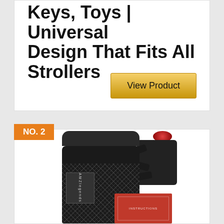Keys, Toys | Universal Design That Fits All Strollers
View Product
NO. 2
[Figure (photo): Product photo showing a black mesh drawstring bag (AMZlegends) mounted with a metal clamp/arm assembly in black and red, alongside a red product box]